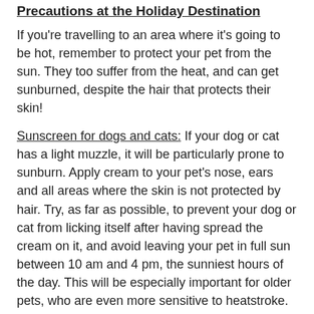Precautions at the Holiday Destination
If you're travelling to an area where it's going to be hot, remember to protect your pet from the sun. They too suffer from the heat, and can get sunburned, despite the hair that protects their skin!
Sunscreen for dogs and cats: If your dog or cat has a light muzzle, it will be particularly prone to sunburn. Apply cream to your pet's nose, ears and all areas where the skin is not protected by hair. Try, as far as possible, to prevent your dog or cat from licking itself after having spread the cream on it, and avoid leaving your pet in full sun between 10 am and 4 pm, the sunniest hours of the day. This will be especially important for older pets, who are even more sensitive to heatstroke. You can also refresh your pet by putting a wet washcloth over its coat.
Grooming, for a lighter summer experience: For long-haired